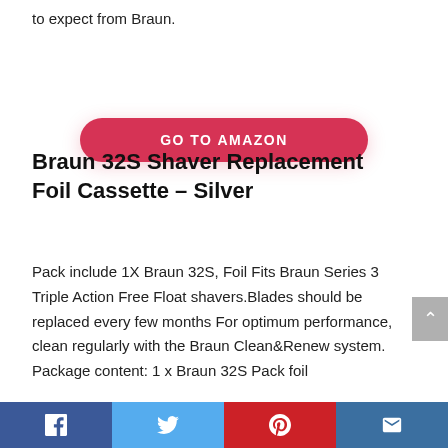to expect from Braun.
[Figure (other): GO TO AMAZON button (red/pink pill-shaped button)]
Braun 32S Shaver Replacement Foil Cassette – Silver
Pack include 1X Braun 32S, Foil Fits Braun Series 3 Triple Action Free Float shavers.Blades should be replaced every few months For optimum performance, clean regularly with the Braun Clean&Renew system. Package content: 1 x Braun 32S Pack foil
[Figure (other): GO TO AMAZON button (red/pink pill-shaped button)]
[Figure (other): Social sharing bar with Facebook, Twitter, Pinterest, and email icons]